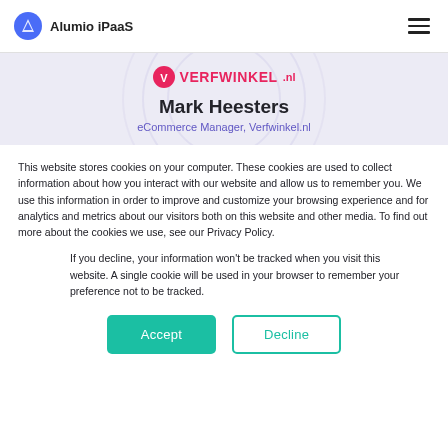Alumio iPaaS
[Figure (logo): Verfwinkel.nl logo with orange circle icon and bold text]
Mark Heesters
eCommerce Manager, Verfwinkel.nl
This website stores cookies on your computer. These cookies are used to collect information about how you interact with our website and allow us to remember you. We use this information in order to improve and customize your browsing experience and for analytics and metrics about our visitors both on this website and other media. To find out more about the cookies we use, see our Privacy Policy.
If you decline, your information won't be tracked when you visit this website. A single cookie will be used in your browser to remember your preference not to be tracked.